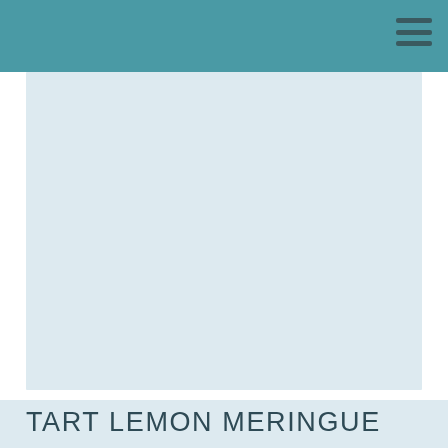[Figure (photo): Large light blue rectangular image placeholder area]
TART LEMON MERINGUE